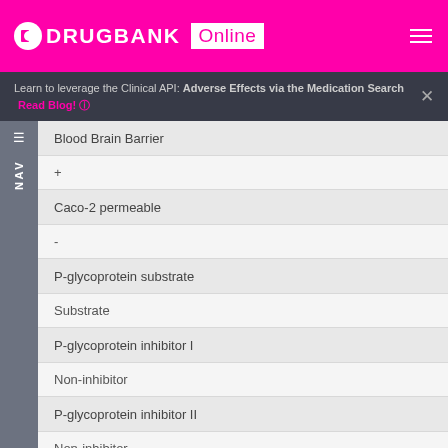DRUGBANK Online
Learn to leverage the Clinical API: Adverse Effects via the Medication Search  Read Blog!
Blood Brain Barrier
+
Caco-2 permeable
-
P-glycoprotein substrate
Substrate
P-glycoprotein inhibitor I
Non-inhibitor
P-glycoprotein inhibitor II
Non-inhibitor
Renal organic cation transporter